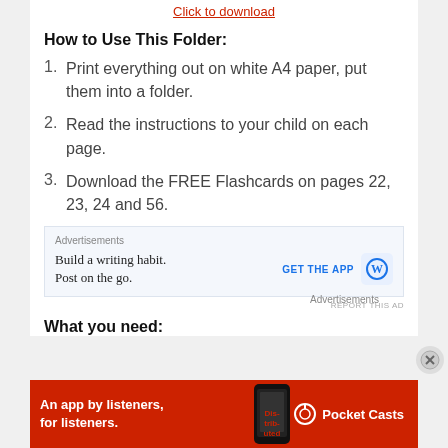Click to download
How to Use This Folder:
Print everything out on white A4 paper, put them into a folder.
Read the instructions to your child on each page.
Download the FREE Flashcards on pages 22, 23, 24 and 56.
[Figure (screenshot): Advertisement: Build a writing habit. Post on the go. GET THE APP [WordPress logo]]
What you need:
[Figure (screenshot): Advertisement banner: An app by listeners, for listeners. Pocket Casts logo with phone image.]